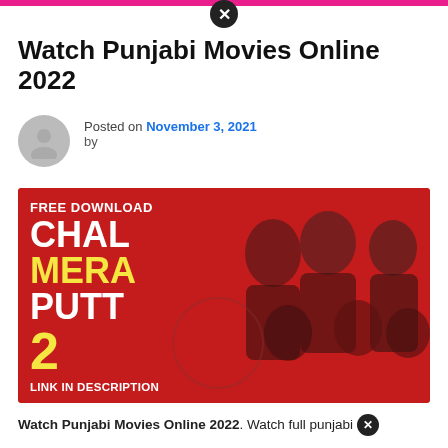Watch Punjabi Movies Online 2022
Posted on November 3, 2021 by
[Figure (photo): Movie promotional banner with red background showing 'FREE DOWNLOAD CHAL MERA PUTT 2 LINK IN DESCRIPTION' text and group of people/actors]
Watch Punjabi Movies Online 2022. Watch full punjabi